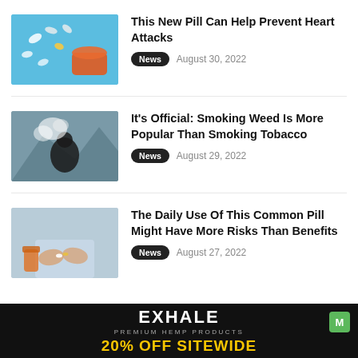[Figure (photo): Pills spilling from an orange bottle on a blue background]
This New Pill Can Help Prevent Heart Attacks
News  August 30, 2022
[Figure (photo): Person exhaling smoke cloud outdoors near a lake with mountains]
It's Official: Smoking Weed Is More Popular Than Smoking Tobacco
News  August 29, 2022
[Figure (photo): Hands holding pills with medicine bottles on a table]
The Daily Use Of This Common Pill Might Have More Risks Than Benefits
News  August 27, 2022
[Figure (infographic): EXHALE PREMIUM HEMP PRODUCTS — 20% OFF SITEWIDE advertisement banner]